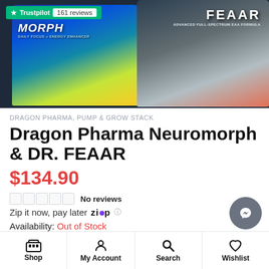[Figure (photo): Product image showing two supplement containers: Dragon Pharma Neuromorph (blue/purple) and DR. FEAAR (black/orange), with a Trustpilot badge showing 161 reviews]
DRAGON PHARMA, PUMP & GROW STACK
Dragon Pharma Neuromorph & DR. FEAAR
$134.90
No reviews
Zip it now, pay later
Availability: Out of Stock